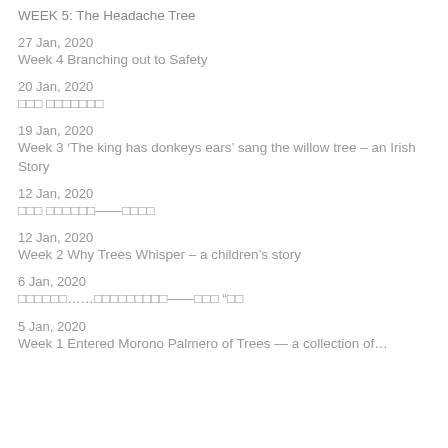WEEK 5: The Headache Tree
27 Jan, 2020
Week 4 Branching out to Safety
20 Jan, 2020
□□□ □□□□□□□
19 Jan, 2020
Week 3 ‘The king has donkeys ears’ sang the willow tree – an Irish Story
12 Jan, 2020
□□□ □□□□□□——□□□□
12 Jan, 2020
Week 2 Why Trees Whisper – a children’s story
6 Jan, 2020
□□□□□□......□□□□□□□□□——□□□ “□□
5 Jan, 2020
Week 1 Entered Morono Palmero of Trees — a collection of...